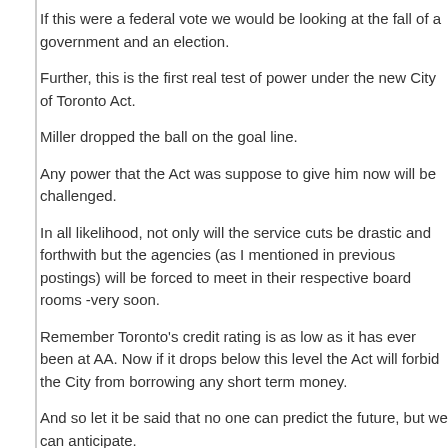If this were a federal vote we would be looking at the fall of a government and an election.
Further, this is the first real test of power under the new City of Toronto Act.
Miller dropped the ball on the goal line.
Any power that the Act was suppose to give him now will be challenged.
In all likelihood, not only will the service cuts be drastic and forthwith but the agencies (as I mentioned in previous postings) will be forced to meet in their respective board rooms -very soon.
Remember Toronto's credit rating is as low as it has ever been at AA. Now if it drops below this level the Act will forbid the City from borrowing any short term money.
And so let it be said that no one can predict the future, but we can anticipate.
Posted in Uncategorized | No Comments »
Toronto City Council Defers Tax Debate
Tuesday, July 17th, 2007
Far more compelling to the left wing loss of the yesterday's tax vote was the stinging political defeat as Mayor of Toronto for David Miller.